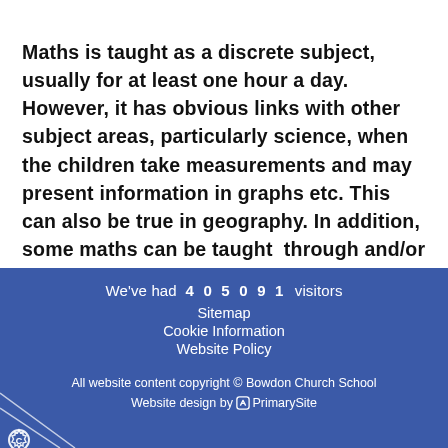Maths is taught as a discrete subject, usually for at least one hour a day. However, it has obvious links with other subject areas, particularly science, when the children take measurements and may present information in graphs etc. This can also be true in geography. In addition, some maths can be taught through and/or practised using computing skills.
We've had 405091 visitors
Sitemap
Cookie Information
Website Policy
All website content copyright © Bowdon Church School
Website design by PrimarySite